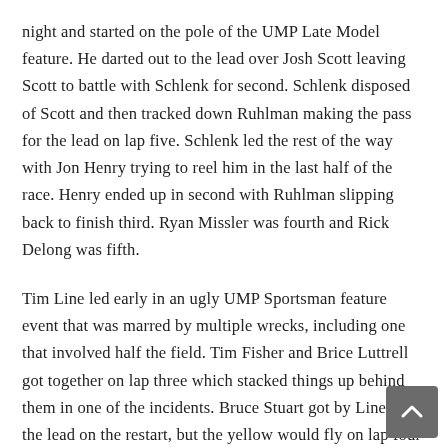night and started on the pole of the UMP Late Model feature. He darted out to the lead over Josh Scott leaving Scott to battle with Schlenk for second. Schlenk disposed of Scott and then tracked down Ruhlman making the pass for the lead on lap five. Schlenk led the rest of the way with Jon Henry trying to reel him in the last half of the race. Henry ended up in second with Ruhlman slipping back to finish third. Ryan Missler was fourth and Rick Delong was fifth.
Tim Line led early in an ugly UMP Sportsman feature event that was marred by multiple wrecks, including one that involved half the field. Tim Fisher and Brice Luttrell got together on lap three which stacked things up behind them in one of the incidents. Bruce Stuart got by Line for the lead on the restart, but the yellow would fly on lap four for an incident involving seven cars. The big wreck happened on...